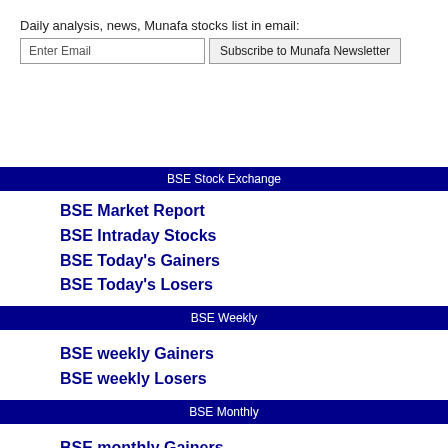Daily analysis, news, Munafa stocks list in email:
Enter Email | Subscribe to Munafa Newsletter
BSE Stock Exchange
BSE Market Report
BSE Intraday Stocks
BSE Today's Gainers
BSE Today's Losers
BSE Weekly
BSE weekly Gainers
BSE weekly Losers
BSE Monthly
BSE monthly Gainers